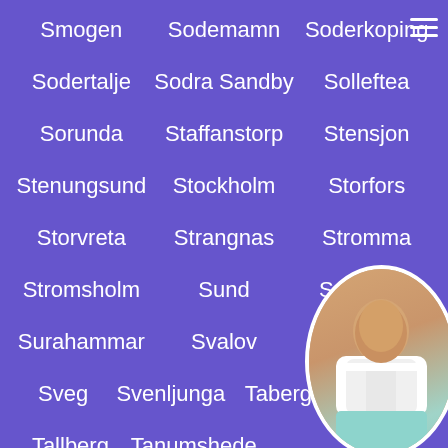Smogen
Sodemamn
Soderkoping
Sodertalje
Sodra Sandby
Solleftea
Sorunda
Staffanstorp
Stensjon
Stenungsund
Stockholm
Storfors
Storvreta
Strangnas
Stromma
Stromsholm
Sund
Sundborn
Surahammar
Svalov
Svedala
Sveg
Svenljunga
Taberg
Taby
Tallberg
Tanumshede
Tidaholm
Tierp
Timra
Toreboda
Torekov
Torsas
[Figure (photo): Circular portrait photo of a woman in white top and teal/turquoise shorts, positioned in bottom-right corner]